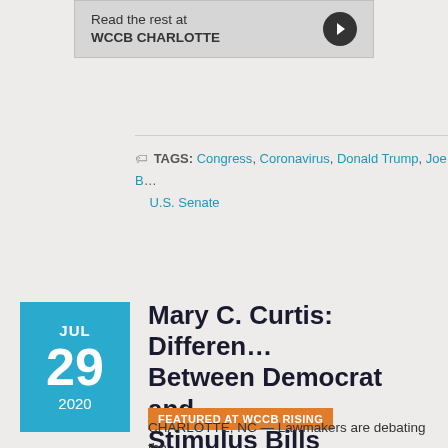[Figure (other): Read the rest at WCCB CHARLOTTE button banner with arrow icon]
TAGS: Congress, Coronavirus, Donald Trump, Joe B... U.S. Senate
Mary C. Curtis: Differences Between Democrat and Stimulus Bills
FEATURED AT WCCB RISING
CHARLOTTE, NC — Lawmakers are debating the... of coronavirus relief to help struggling Americans.